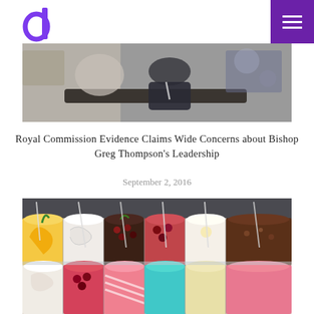d (logo) | hamburger menu
[Figure (photo): A blurred conference or meeting room scene with a person seated at a table, dark jacket visible, out-of-focus background with equipment.]
Royal Commission Evidence Claims Wide Concerns about Bishop Greg Thompson’s Leadership
September 2, 2016
[Figure (photo): Colorful gelato display case with many flavors including mango, berry, cream, chocolate, and other varieties with serving scoops visible.]